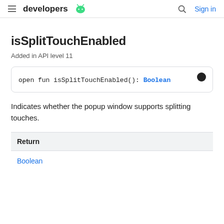developers (android logo) | search | Sign in
isSplitTouchEnabled
Added in API level 11
Indicates whether the popup window supports splitting touches.
| Return |
| --- |
| Boolean |